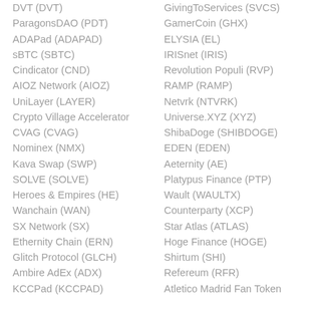DVT (DVT)
ParagonsDAO (PDT)
ADAPad (ADAPAD)
sBTC (SBTC)
Cindicator (CND)
AIOZ Network (AIOZ)
UniLayer (LAYER)
Crypto Village Accelerator
CVAG (CVAG)
Nominex (NMX)
Kava Swap (SWP)
SOLVE (SOLVE)
Heroes & Empires (HE)
Wanchain (WAN)
SX Network (SX)
Ethernity Chain (ERN)
Glitch Protocol (GLCH)
Ambire AdEx (ADX)
KCCPad (KCCPAD)
GivingToServices (SVCS)
GamerCoin (GHX)
ELYSIA (EL)
IRISnet (IRIS)
Revolution Populi (RVP)
RAMP (RAMP)
Netvrk (NTVRK)
Universe.XYZ (XYZ)
ShibaDoge (SHIBDOGE)
EDEN (EDEN)
Aeternity (AE)
Platypus Finance (PTP)
Wault (WAULTX)
Counterparty (XCP)
Star Atlas (ATLAS)
Hoge Finance (HOGE)
Shirtum (SHI)
Refereum (RFR)
Atletico Madrid Fan Token